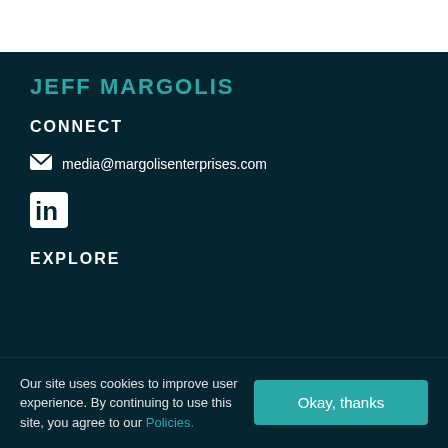JEFF MARGOLIS
CONNECT
media@margolisenterprises.com
[Figure (logo): LinkedIn icon logo]
EXPLORE
Our site uses cookies to improve user experience. By continuing to use this site, you agree to our Policies.